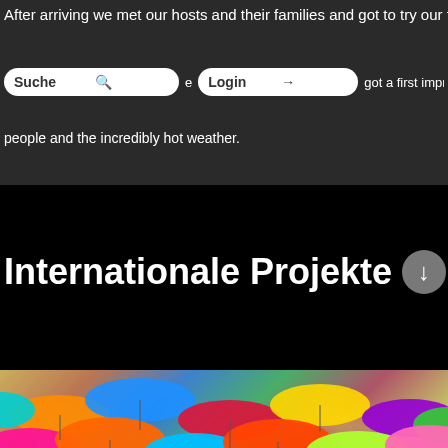After arriving we met our hosts and their families and got to try our f
Suche | Login
e got a first impre people and the incredibly hot weather.
[Figure (photo): Colorful umbrellas hanging overhead in a street market, viewed from below against a blue sky. Lower section shows market stalls and awnings.]
Internationale Projekte